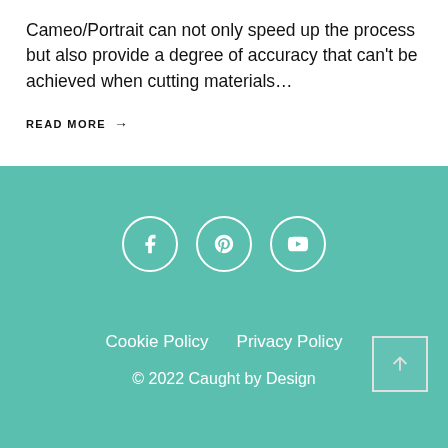Cameo/Portrait can not only speed up the process but also provide a degree of accuracy that can't be achieved when cutting materials…
READ MORE →
Social icons: Facebook, Pinterest, YouTube | Cookie Policy | Privacy Policy | © 2022 Caught by Design